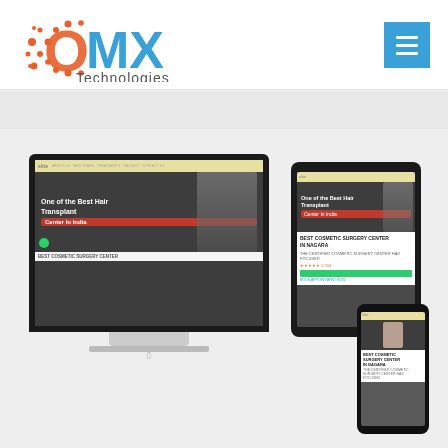[Figure (logo): OMX Technologies logo with orange dotted circle O, blue MX letters, and subtitle 'Technologies']
[Figure (screenshot): Website mockup displayed across desktop monitor, tablet, and smartphone showing a hair transplant clinic website with text 'One of the Best Hair Transplant Center In India' and 'BEST COSMETIC SURGERY CENTER']